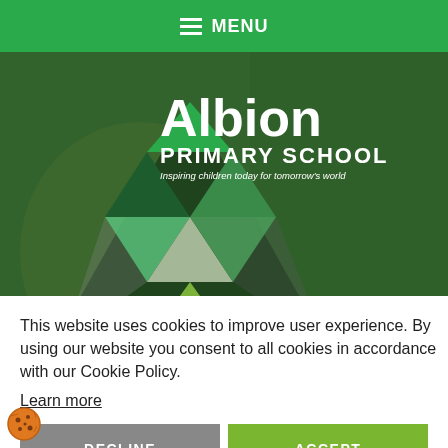≡ MENU
[Figure (photo): Hero image of children outdoors with green-tinted overlay and Albion Primary School logo featuring a geometric triangular logo made of coloured triangles]
This website uses cookies to improve user experience. By using our website you consent to all cookies in accordance with our Cookie Policy. Learn more
DECLINE
ACCEPT